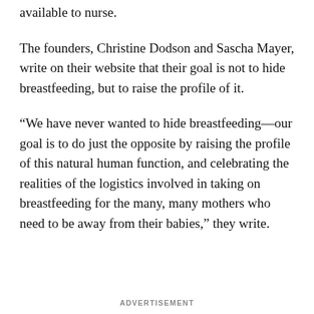available to nurse.
The founders, Christine Dodson and Sascha Mayer, write on their website that their goal is not to hide breastfeeding, but to raise the profile of it.
“We have never wanted to hide breastfeeding—our goal is to do just the opposite by raising the profile of this natural human function, and celebrating the realities of the logistics involved in taking on breastfeeding for the many, many mothers who need to be away from their babies,” they write.
ADVERTISEMENT